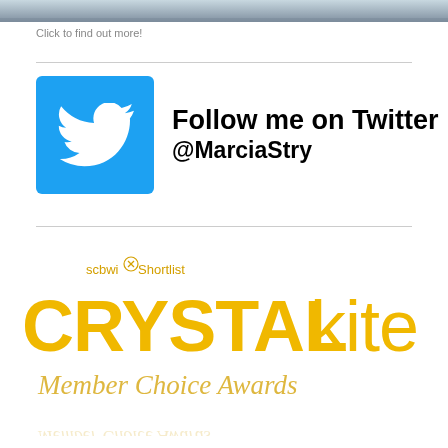[Figure (photo): Top portion of a photo with water/sky, cropped]
Click to find out more!
[Figure (logo): Twitter bird logo in blue square with text: Follow me on Twitter @MarciaStry]
Follow me on Twitter
@MarciaStry
[Figure (logo): SCBWI Crystal Kite Member Choice Awards logo in gold/yellow]